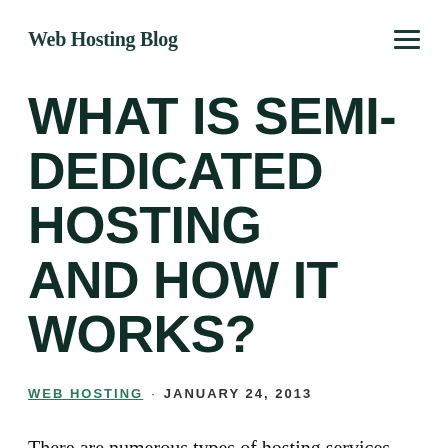Web Hosting Blog
WHAT IS SEMI-DEDICATED HOSTING AND HOW IT WORKS?
WEB HOSTING · JANUARY 24, 2013
There are numerous types of hosting services available and you select the one that's required to operate your